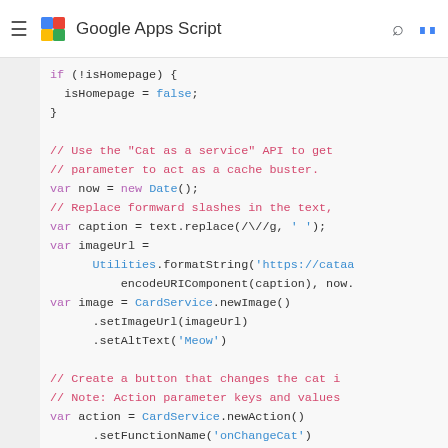Google Apps Script
[Figure (screenshot): Google Apps Script code snippet showing JavaScript code with syntax highlighting. Code includes: if (!isHomepage) { isHomepage = false; } block, then comments about using the Cat as a service API, var now = new Date(), comment about replacing forward slashes, var caption = text.replace(/\//g, ' '), var imageUrl = Utilities.formatString('https://cataa...', encodeURIComponent(caption), now.), var image = CardService.newImage().setImageUrl(imageUrl).setAltText('Meow'), comment about creating a button that changes the cat, comment about Action parameter keys and values, var action = CardService.newAction().setFunctionName('onChangeCat')]